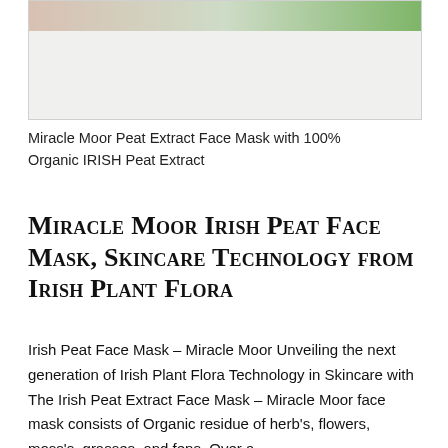[Figure (photo): Partial product photo of Miracle Moor Peat Extract Face Mask with green and skin-toned background visible at top]
Miracle Moor Peat Extract Face Mask with 100% Organic IRISH Peat Extract
Miracle Moor Irish Peat Face Mask, Skincare Technology from Irish Plant Flora
Irish Peat Face Mask – Miracle Moor Unveiling the next generation of Irish Plant Flora Technology in Skincare with The Irish Peat Extract Face Mask – Miracle Moor face mask consists of Organic residue of herb's, flowers, moss's, grasses, and fens. Over a